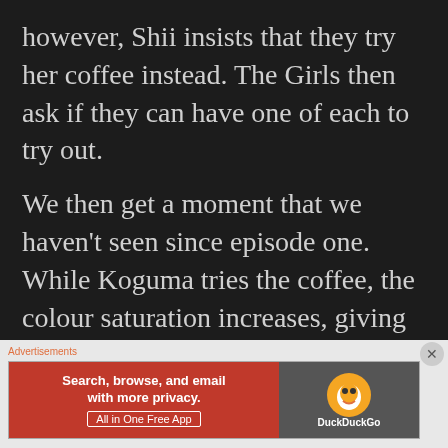however, Shii insists that they try her coffee instead. The Girls then ask if they can have one of each to try out.
We then get a moment that we haven't seen since episode one. While Koguma tries the coffee, the colour saturation increases, giving us a more vivid picture. Especially a more vivid red. We then get a sweet moment of pause where we take in the atmosphere with some nice nineteen-eighties keys. We also get a
[Figure (screenshot): DuckDuckGo advertisement banner: orange/red left panel with text 'Search, browse, and email with more privacy. All in One Free App', and dark right panel with DuckDuckGo duck logo and brand name.]